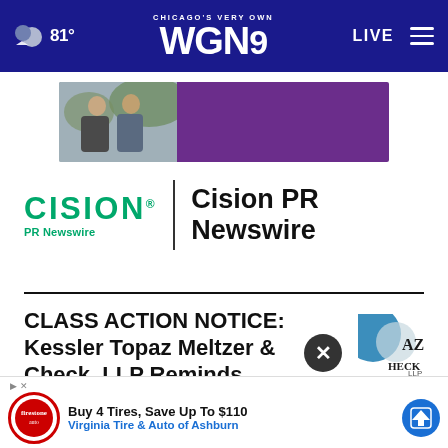81° | CHICAGO'S VERY OWN WGN9 | LIVE
[Figure (screenshot): Advertisement banner showing two men smiling with purple background]
[Figure (logo): Cision PR Newswire logo with green CISION wordmark and pipe divider, then 'Cision PR Newswire' in bold black]
CLASS ACTION NOTICE: Kessler Topaz Meltzer & Check, LLP Reminds Investors that a Securities Class Action Lawsuit Filed
[Figure (screenshot): Bottom advertisement: Buy 4 Tires, Save Up To $110 - Virginia Tire & Auto of Ashburn, with Firestone Auto logo and blue arrow button]